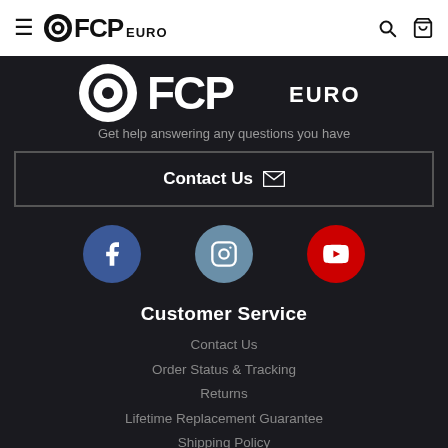FCP Euro - navigation bar with hamburger menu, logo, search and cart icons
[Figure (logo): FCP Euro large white logo on dark background]
Get help answering any questions you have
Contact Us
[Figure (infographic): Three social media icons: Facebook (blue circle), Instagram (steel blue circle), YouTube (red circle)]
Customer Service
Contact Us
Order Status & Tracking
Returns
Lifetime Replacement Guarantee
Shipping Policy
Deals & Coupons
FAQ
About FCP Euro